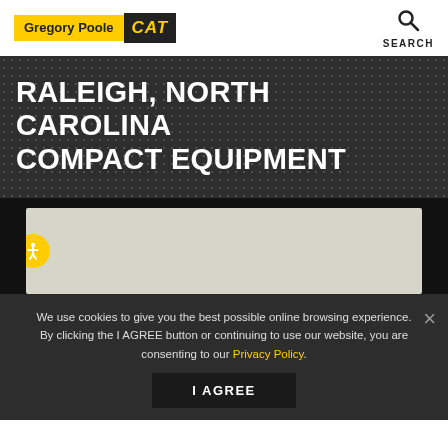Gregory Poole CAT | SEARCH
RALEIGH, NORTH CAROLINA COMPACT EQUIPMENT
[Figure (map): A light gray map placeholder area with an accessibility icon (yellow circle with white person figure) on the left side]
We use cookies to give you the best possible online browsing experience. By clicking the I AGREE button or continuing to use our website, you are consenting to our Privacy Policy.
I AGREE